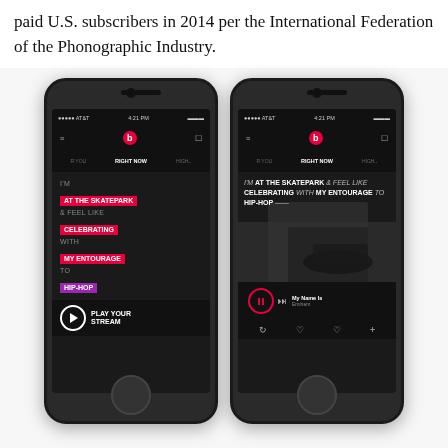paid U.S. subscribers in 2014 per the International Federation of the Phonographic Industry.
[Figure (screenshot): Two iPhone screenshots showing the Beats Music app interface. Left phone shows the mood-based 'Right Now' playlist selector with highlighted tags: 'AT THE SKATEPARK' (red), 'CELEBRATING' (red), 'MY ENTOURAGE' (red), 'HIP-HOP' (purple), with a 'PLAY YOUR STREAM' button. Right phone shows the same app with a skatepark photo background and now-playing controls for 'My Name Is Eminem'.]